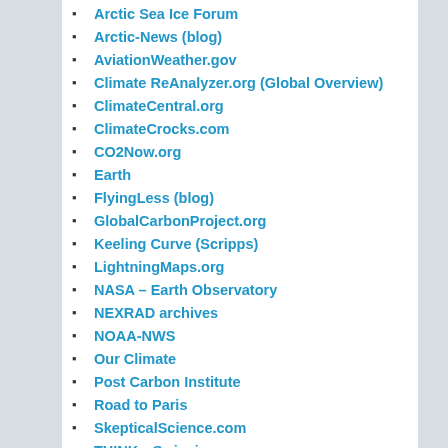Arctic Sea Ice Forum
Arctic-News (blog)
AviationWeather.gov
Climate ReAnalyzer.org (Global Overview)
ClimateCentral.org
ClimateCrocks.com
CO2Now.org
Earth
FlyingLess (blog)
GlobalCarbonProject.org
Keeling Curve (Scripps)
LightningMaps.org
NASA – Earth Observatory
NEXRAD archives
NOAA-NWS
Our Climate
Post Carbon Institute
Road to Paris
SkepticalScience.com
THINKorSwim.ie
U.S. Forecast Maps (Accuweather.com)
Weather Graphics